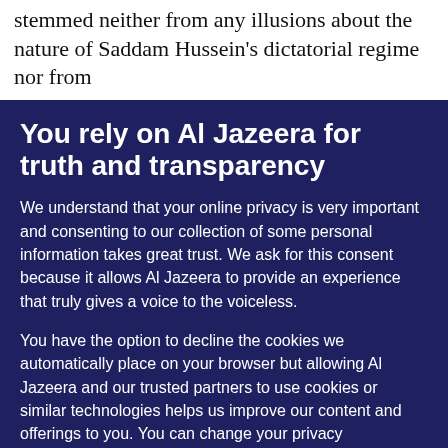stemmed neither from any illusions about the nature of Saddam Hussein's dictatorial regime nor from
You rely on Al Jazeera for truth and transparency
We understand that your online privacy is very important and consenting to our collection of some personal information takes great trust. We ask for this consent because it allows Al Jazeera to provide an experience that truly gives a voice to the voiceless.
You have the option to decline the cookies we automatically place on your browser but allowing Al Jazeera and our trusted partners to use cookies or similar technologies helps us improve our content and offerings to you. You can change your privacy preferences at any time by selecting 'Cookie preferences' at the bottom of your screen. To learn more, please view our Cookie Policy.